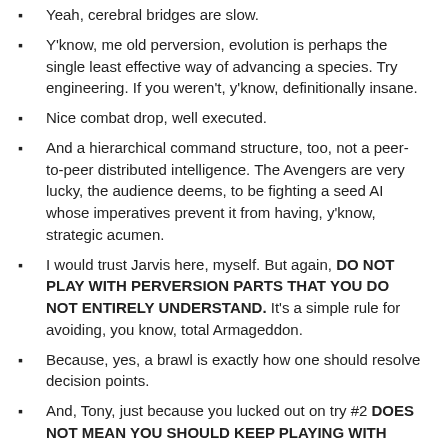Yeah, cerebral bridges are slow.
Y'know, me old perversion, evolution is perhaps the single least effective way of advancing a species. Try engineering. If you weren't, y'know, definitionally insane.
Nice combat drop, well executed.
And a hierarchical command structure, too, not a peer-to-peer distributed intelligence. The Avengers are very lucky, the audience deems, to be fighting a seed AI whose imperatives prevent it from having, y'know, strategic acumen.
I would trust Jarvis here, myself. But again, DO NOT PLAY WITH PERVERSION PARTS THAT YOU DO NOT ENTIRELY UNDERSTAND. It's a simple rule for avoiding, you know, total Armageddon.
Because, yes, a brawl is exactly how one should resolve decision points.
And, Tony, just because you lucked out on try #2 DOES NOT MEAN YOU SHOULD KEEP PLAYING WITH THEOGENIC ALGORITHMS.
Yeah, that would be a good sign. Damn hammer's the